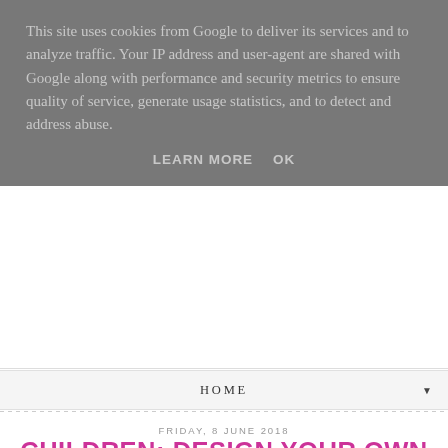This site uses cookies from Google to deliver its services and to analyze traffic. Your IP address and user-agent are shared with Google along with performance and security metrics to ensure quality of service, generate usage statistics, and to detect and address abuse.
LEARN MORE   OK
HOME
FRIDAY, 8 JUNE 2018
CHILDREN: DESIGN YOUR OWN LITTLELIFE BACKPACK WITH JOJO MAMAN BÉBÉ
[Figure (photo): Two photos side by side: left shows a child backpack drawn/sketched on beige background, right shows a brown children's backpack with animal ears]